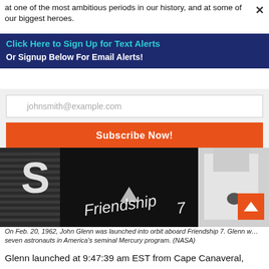at one of the most ambitious periods in our history, and at some of our biggest heroes.
Click Here to Sign Up for Text Alerts
Or Signup Below For Email Alerts!
johnsmith@example.com
Subscribe Now!
[Figure (photo): Black and white photo of John Glenn boarding the Friendship 7 spacecraft, with 'Friendship 7' text visible on the capsule]
On Feb. 20, 1962, John Glenn was launched into orbit aboard Friendship 7. Glenn was one of seven astronauts in America's seminal Mercury program. (NASA)
Glenn launched at 9:47:39 am EST from Cape Canaveral,